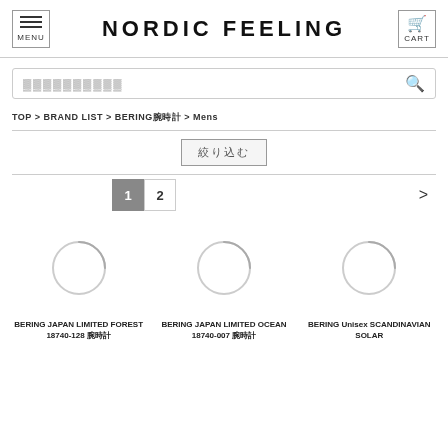NORDIC FEELING
キーワードを入力
TOP > BRAND LIST > BERING腕時計 > Mens
絞り込む
1  2  >
[Figure (other): Loading spinner placeholder for product image]
BERING JAPAN LIMITED FOREST 18740-128 腕時計
[Figure (other): Loading spinner placeholder for product image]
BERING JAPAN LIMITED OCEAN 18740-007 腕時計
[Figure (other): Loading spinner placeholder for product image]
BERING Unisex SCANDINAVIAN SOLAR